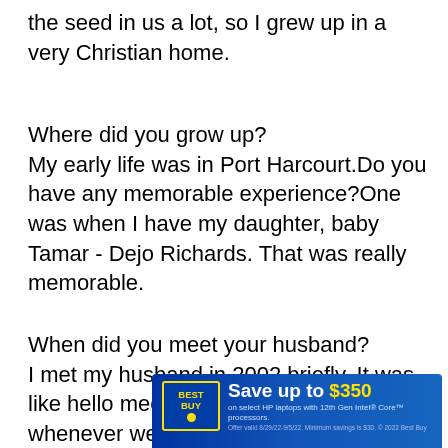the seed in us a lot, so I grew up in a very Christian home.
Where did you grow up?
My early life was in Port Harcourt.Do you have any memorable experience?One was when I have my daughter, baby Tamar - Dejo Richards. That was really memorable.
When did you meet your husband?
I met my husband in 2002 briefly. It was like hello meet my friend Segun and whenever we meet, hello hi and that was about it. I did not even know that the man has already started planning how to 'catch' me. Since then, he has been mapping out strategies to 'catch' me, it took him two years before and end th
[Figure (other): Best Buy advertisement banner: 'Save up to $350 on select HP laptops with 12th Gen Intel Core processors. Offer valid 8/29/22-9/5/22. Minimum savings is $30. © 2022 Best Buy']